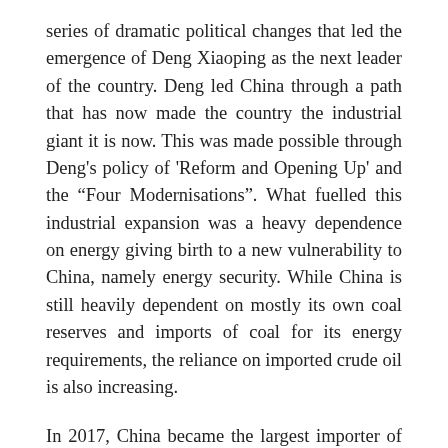series of dramatic political changes that led the emergence of Deng Xiaoping as the next leader of the country. Deng led China through a path that has now made the country the industrial giant it is now. This was made possible through Deng's policy of 'Reform and Opening Up' and the “Four Modernisations”. What fuelled this industrial expansion was a heavy dependence on energy giving birth to a new vulnerability to China, namely energy security. While China is still heavily dependent on mostly its own coal reserves and imports of coal for its energy requirements, the reliance on imported crude oil is also increasing.
In 2017, China became the largest importer of crude oil in the world, surpassing the United States and 70% of this was met through oil imports mainly from the West Asian region. In the coming years,